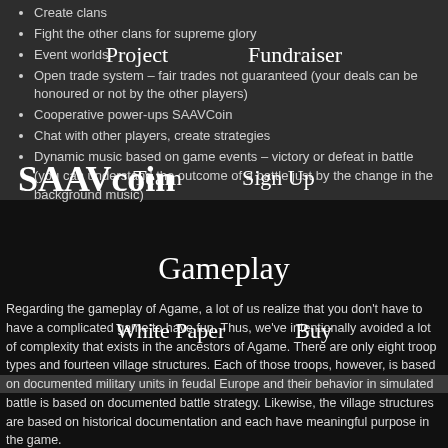Create clans
Fight the other clans for supreme glory
Event worlds
Open trade system – fair trades not guaranteed (your deals can be honoured or not by the other players)
Cooperative power-ups SAAVCoin
Chat with other players, create strategies
Dynamic music based on game events – victory or defeat in battle (you can understand the outcome of a battle just by the change in the background music)
Project   Fundraiser   SAAVcoin   Team   Sign Up   White Paper   Buy
Gameplay
Regarding the gameplay of Agame, a lot of us realize that you don't have to have a complicated game to have fun. Thus, we've intentionally avoided a lot of complexity that exists in the ancestors of Agame. There are only eight troop types and fourteen village structures. Each of those troops, however, is based on documented military units in feudal Europe and their behavior in simulated battle is based on documented battle strategy. Likewise, the village structures are based on historical documentation and each have meaningful purpose in the game.